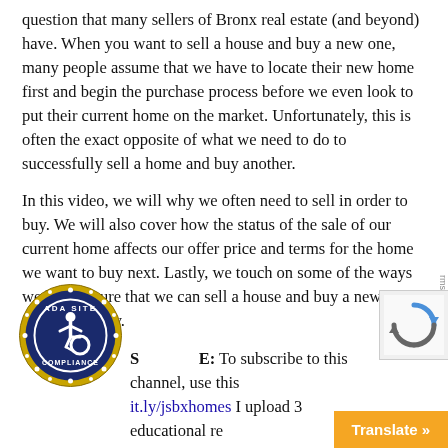question that many sellers of Bronx real estate (and beyond) have. When you want to sell a house and buy a new one, many people assume that we have to locate their new home first and begin the purchase process before we even look to put their current home on the market. Unfortunately, this is often the exact opposite of what we need to do to successfully sell a home and buy another.
In this video, we will why we often need to sell in order to buy. We will also cover how the status of the sale of our current home affects our offer price and terms for the home we want to buy next. Lastly, we touch on some of the ways we help ensure that we can sell a house and buy a new one simultaneously.
SUBSCRIBE: To subscribe to this channel, use this link bit.ly/jsbxhomes I upload 3 educational real estate videos weekly, including detailed information about buying a house as well as selling a home.
[Figure (logo): ADA Site Compliance badge - circular blue and gold seal with wheelchair accessibility icon]
[Figure (logo): reCAPTCHA badge]